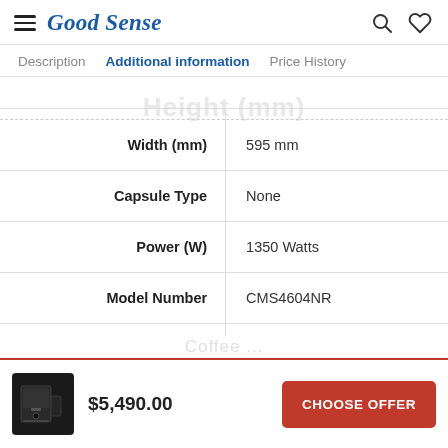Good Sense
Description | Additional information | Price History
| Attribute | Value |
| --- | --- |
| Width (mm) | 595 mm |
| Capsule Type | None |
| Power (W) | 1350 Watts |
| Model Number | CMS4604NR |
| Built In | True |
| Programmable coffee strength | True |
$5,490.00
CHOOSE OFFER